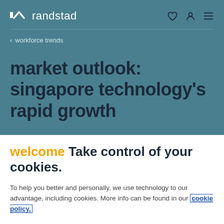randstad
< workforce trends
market outlook: singapore technology's rapid growth
welcome Take control of your cookies.
To help you better and personally, we use technology to our advantage, including cookies. More info can be found in our cookie policy.